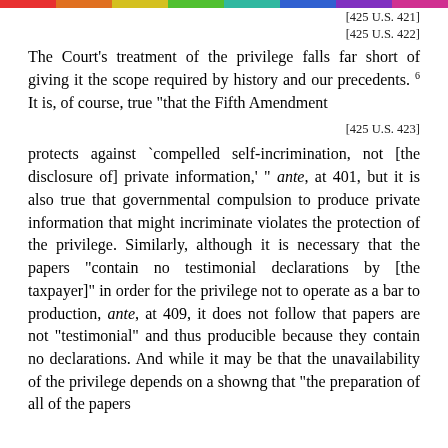[425 U.S. 421]
[425 U.S. 422]
The Court's treatment of the privilege falls far short of giving it the scope required by history and our precedents. 6 It is, of course, true "that the Fifth Amendment
[425 U.S. 423]
protects against `compelled self-incrimination, not [the disclosure of] private information,' " ante, at 401, but it is also true that governmental compulsion to produce private information that might incriminate violates the protection of the privilege. Similarly, although it is necessary that the papers "contain no testimonial declarations by [the taxpayer]" in order for the privilege not to operate as a bar to production, ante, at 409, it does not follow that papers are not "testimonial" and thus producible because they contain no declarations. And while it may be that the unavailability of the privilege depends on a showng that "the preparation of all of the papers